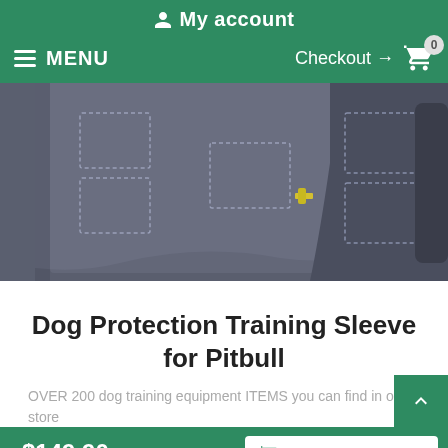My account
MENU  Checkout → 0
[Figure (photo): Close-up photo of a dark grey/navy dog protection training sleeve made of thick padded material with stitched rectangular patches and a yellow metal hook detail.]
Dog Protection Training Sleeve for Pitbull
OVER 200 dog training equipment ITEMS you can find in our store
$149.90   SELECT OPTIONS